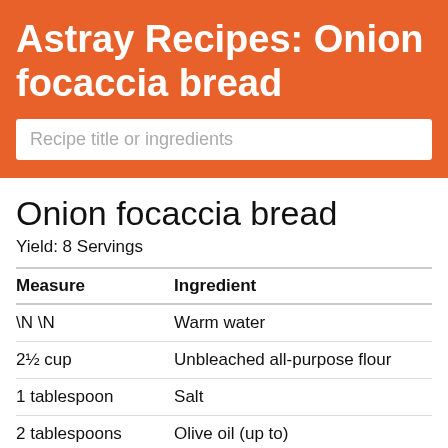Astray Recipes: Onion focaccia bread
Recipe title or ingredients
Onion focaccia bread
Yield: 8 Servings
| Measure | Ingredient |
| --- | --- |
| \N \N | Warm water |
| 2½ cup | Unbleached all-purpose flour |
| 1 tablespoon | Salt |
| 2 tablespoons | Olive oil (up to) |
| 4 tablespoons | Extra virgin olive oil |